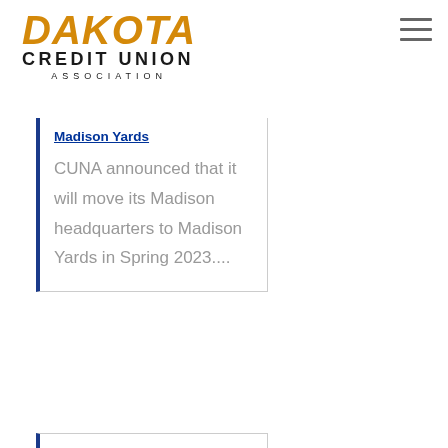[Figure (logo): Dakota Credit Union Association logo with gold italic DAKOTA text and dark CREDIT UNION ASSOCIATION text below]
Madison Yards
CUNA announced that it will move its Madison headquarters to Madison Yards in Spring 2023....
Montana's Credit Unions President/CEO Kenyon announces retirement
Montana's Credit Unions, the state credit union trade association, is announcing Tracie